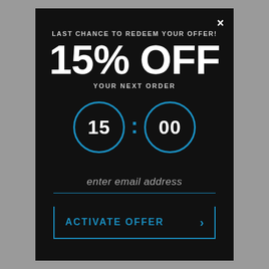×
LAST CHANCE TO REDEEM YOUR OFFER!
15% OFF
YOUR NEXT ORDER
[Figure (infographic): Countdown timer showing two circles with '15' and '00' separated by a blue colon, styled with blue circle borders]
enter email address
ACTIVATE OFFER